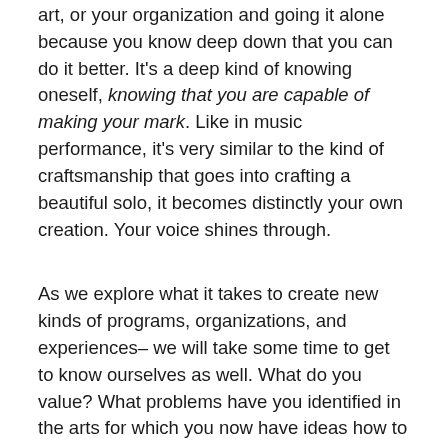art, or your organization and going it alone because you know deep down that you can do it better. It's a deep kind of knowing oneself, knowing that you are capable of making your mark. Like in music performance, it's very similar to the kind of craftsmanship that goes into crafting a beautiful solo, it becomes distinctly your own creation. Your voice shines through.
As we explore what it takes to create new kinds of programs, organizations, and experiences– we will take some time to get to know ourselves as well. What do you value? What problems have you identified in the arts for which you now have ideas how to fix them? From what kind of artistic work do you derive the greatest satisfaction? How far are you willing to go to see your idea